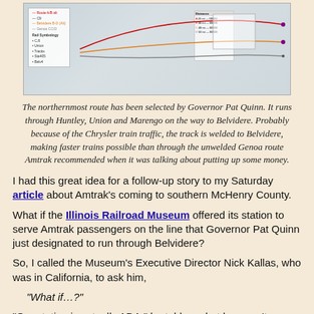[Figure (map): A map showing northern Illinois rail routes including the northernmost route through Huntley, Union, and Marengo to Belvidere, with a legend and data table overlay.]
The northernmost route has been selected by Governor Pat Quinn. It runs through Huntley, Union and Marengo on the way to Belvidere. Probably because of the Chrysler train traffic, the track is welded to Belvidere, making faster trains possible than through the unwelded Genoa route Amtrak recommended when it was talking about putting up some money.
I had this great idea for a follow-up story to my Saturday article about Amtrak’s coming to southern McHenry County.
What if the Illinois Railroad Museum offered its station to serve Amtrak passengers on the line that Governor Pat Quinn just designated to run through Belvidere?
So, I called the Museum’s Executive Director Nick Kallas, who was in California, to ask him,
“What if…?”
“Our station is actually ADA,” he told me, but he wasn’t as